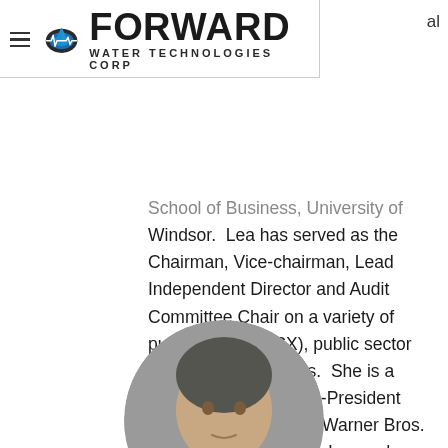FORWARD WATER TECHNOLOGIES CORP
School of Business, University of Windsor.  Lea has served as the Chairman, Vice-chairman, Lead Independent Director and Audit Committee Chair on a variety of publicly-listed (TSX), public sector and non-profit entities.  She is a former executive, Vice-President Corporate Finance, of Warner Bros. Entertainment Canada Inc. and former member of the Professional Conduct Committee of the Chartered Professional Accountants (Ontario).
[Figure (photo): Circular portrait photo of a person, cropped at the bottom of the page]